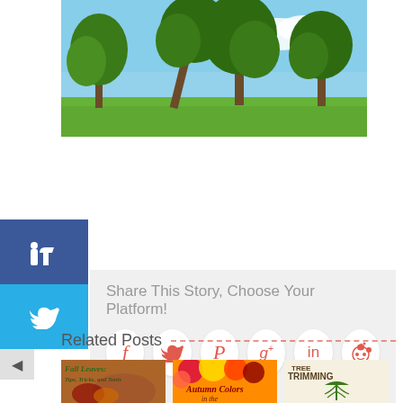[Figure (photo): Landscape photo showing trees on a green field with blue sky]
[Figure (infographic): Social media share buttons: Facebook like (blue), Twitter (cyan), and back arrow]
Share This Story, Choose Your Platform!
[Figure (infographic): Social sharing icons in circles: Facebook (f), Twitter (bird), Pinterest (P), Google+ (g+), LinkedIn (in), Reddit (alien)]
Related Posts
[Figure (photo): Thumbnail: Fall Leaves: Tips, Tricks, and Tools]
[Figure (photo): Thumbnail: Autumn Colors in the]
[Figure (photo): Thumbnail: Tree Trimming]